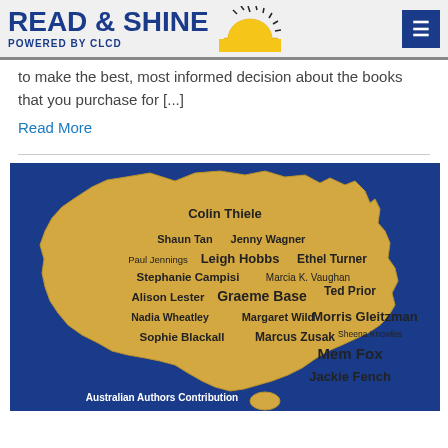READ & SHINE POWERED BY CLCD
to make the best, most informed decision about the books that you purchase for [...]
Read More
[Figure (map): Map of Australia in yellow on blue background with Australian children's authors' names placed across the continent, including Colin Thiele, Shaun Tan, Jenny Wagner, Paul Jennings, Leigh Hobbs, Ethel Turner, Stephanie Campisi, Marcia K. Vaughan, Alison Lester, Graeme Base, Ted Prior, Nadia Wheatley, Margaret Wild, Morris Gleitzman, Sophie Blackall, Marcus Zusak, Sheena Knowles, Mem Fox, Jackie Fench. Caption text: Australian Authors Contribution to Children's Literature]